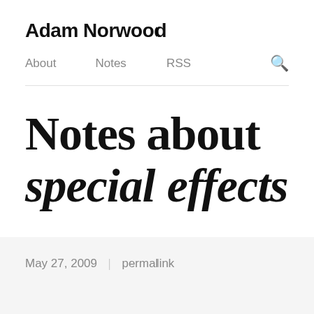Adam Norwood
About   Notes   RSS   🔍
Notes about special effects
May 27, 2009  |  permalink
LEGO Spectacle Automaton